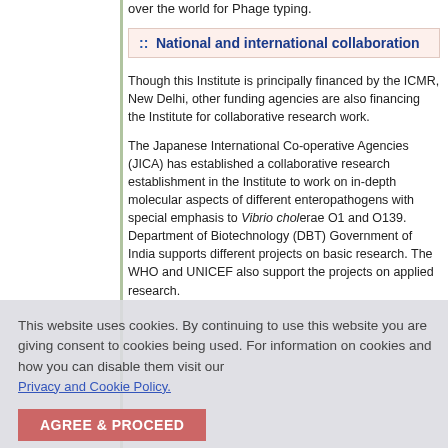over the world for Phage typing.
:: National and international collaboration
Though this Institute is principally financed by the ICMR, New Delhi, other funding agencies are also financing the Institute for collaborative research work.
The Japanese International Co-operative Agencies (JICA) has established a collaborative research establishment in the Institute to work on in-depth molecular aspects of different enteropathogens with special emphasis to Vibrio cholerae O1 and O139. Department of Biotechnology (DBT) Government of India supports different projects on basic research. The WHO and UNICEF also support the projects on applied research.
This website uses cookies. By continuing to use this website you are giving consent to cookies being used. For information on cookies and how you can disable them visit our Privacy and Cookie Policy.